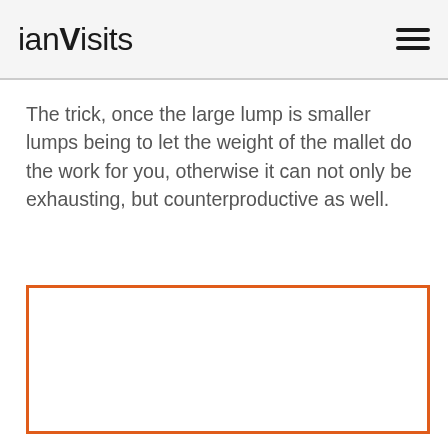ianVisits
The trick, once the large lump is smaller lumps being to let the weight of the mallet do the work for you, otherwise it can not only be exhausting, but counterproductive as well.
[Figure (other): Empty orange-bordered rectangle placeholder image]